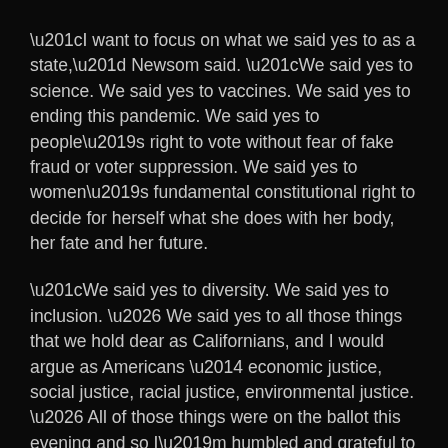“I want to focus on what we said yes to as a state,” Newsom said. “We said yes to science. We said yes to vaccines. We said yes to ending this pandemic. We said yes to people’s right to vote without fear of fake fraud or voter suppression. We said yes to women’s fundamental constitutional right to decide for herself what she does with her body, her fate and her future.
“We said yes to diversity. We said yes to inclusion. … We said yes to all those things that we hold dear as Californians, and I would argue as Americans — economic justice, social justice, racial justice, environmental justice. … All of those things were on the ballot this evening and so I’m humbled and grateful to the millions and millions of Californians who exercised their fundamental right to vote and expressed themselves so overwhelmingly by rejecting the division, by rejecting the cynicism.”